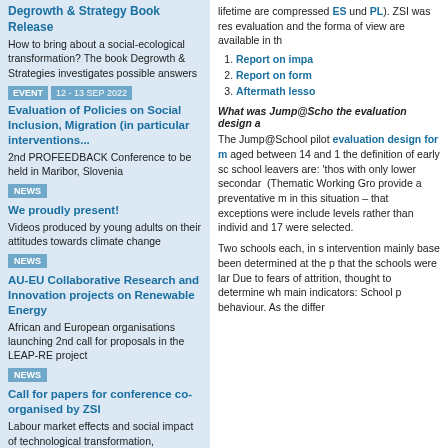Degrowth & Strategy Book Release
How to bring about a social-ecological transformation? The book Degrowth & Strategies investigates possible answers
EVENT | 12 - 13 SEP 2022
Evaluation of Policies on Social Inclusion, Migration (in particular interventions...
2nd PROFEEDBACK Conference to be held in Maribor, Slovenia
NEWS
We proudly present!
Videos produced by young adults on their attitudes towards climate change
NEWS
AU-EU Collaborative Research and Innovation projects on Renewable Energy
African and European organisations launching 2nd call for proposals in the LEAP-RE project
NEWS
Call for papers for conference co-organised by ZSI
Labour market effects and social impact of technological transformation, globalisation and demographic change
lifetime are compressed ES und PL). ZSI was res evaluation and the forma of view are available in th
Report on impa
Report on form
Aftermath lesso
What was Jump@Scho the evaluation design a
The Jump@School pilot evaluation design for m aged between 14 and 1 the definition of early sc school leavers are: 'thos with only lower secondar (Thematic Working Gro provide a preventative m in this situation – that exceptions were include levels rather than individ and 17 were selected.
Two schools each, in s intervention mainly base been determined at the p that the schools were lar Due to fears of attrition, thought to determine wh main indicators: School p behaviour. As the differ